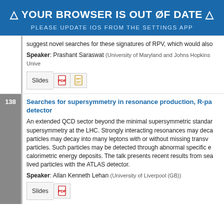[Figure (screenshot): Blue browser warning banner: YOUR BROWSER IS OUT OF DATE. PLEASE UPDATE IOS FROM THE SETTINGS APP]
suggest novel searches for these signatures of RPV, which would also
Speaker: Prashant Saraswat (University of Maryland and Johns Hopkins Unive
Slides [PDF icon] [PPT icon]
138
Searches for supersymmetry in resonance production, R-pa detector
An extended QCD sector beyond the minimal supersymmetric standar supersymmetry at the LHC. Strongly interacting resonances may deca particles may decay into many leptons with or without missing transv particles. Such particles may be detected through abnormal specific e calorimetric energy deposits. The talk presents recent results from sea lived particles with the ATLAS detector.
Speaker: Allan Kenneth Lehan (University of Liverpool (GB))
Slides [PDF icon]